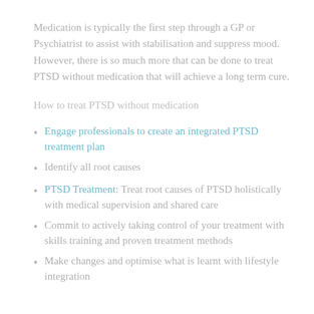Medication is typically the first step through a GP or Psychiatrist to assist with stabilisation and suppress mood.  However, there is so much more that can be done to treat PTSD without medication that will achieve a long term cure.
How to treat PTSD without medication
Engage professionals to create an integrated PTSD treatment plan
Identify all root causes
PTSD Treatment: Treat root causes of PTSD holistically with medical supervision and shared care
Commit to actively taking control of your treatment with skills training and proven treatment methods
Make changes and optimise what is learnt with lifestyle integration